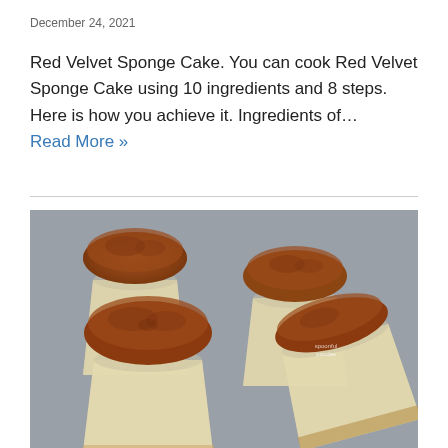December 24, 2021
Red Velvet Sponge Cake. You can cook Red Velvet Sponge Cake using 10 ingredients and 8 steps. Here is how you achieve it. Ingredients of... Read More »
[Figure (photo): Three glass cups filled with cream and topped with sponge cake domes, one cup tipped on its side, arranged on a grey surface. A small watermark reads 'spoonful pandas'.]